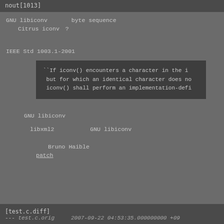nout[1013]
GNU libiconv□□□□byte sequence□□□□□□□□□□□□□□□□□□□□Citrus iconv□?□□□□□□□□□□□□□□□□□□□□□□□□□□□□□□□□□□□□
IEEE Std 1003.1-2001□□□□□□□□□□□□□□
``If iconv() encounters a character in the i but for which an identical character does no iconv() shall perform an implementation-defi
□□□□□□□□□□□□□□□□□□□□□□□□□□□□□□□□□□GNU libiconv□□□□□□□□□□□□□□□□□□□□□□□□□□
□□□□libxml2□□□□□□GNU libiconv□□□□□□□□□□□□□□□□□□□□□□□□□□□□□□□ □□□□□□□□□□□□□□□□□□□□□Bruno Haible□□□□□□□□□□□□□□□□patch□□□□□□□□□□□□
[test.c.diff]
--- test.c.orig     2007-09-22 04:53:35.000000000 +09